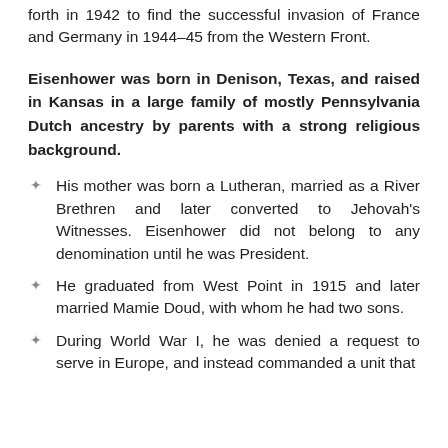forth in 1942 to find the successful invasion of France and Germany in 1944–45 from the Western Front.
Eisenhower was born in Denison, Texas, and raised in Kansas in a large family of mostly Pennsylvania Dutch ancestry by parents with a strong religious background.
His mother was born a Lutheran, married as a River Brethren and later converted to Jehovah's Witnesses. Eisenhower did not belong to any denomination until he was President.
He graduated from West Point in 1915 and later married Mamie Doud, with whom he had two sons.
During World War I, he was denied a request to serve in Europe, and instead commanded a unit that